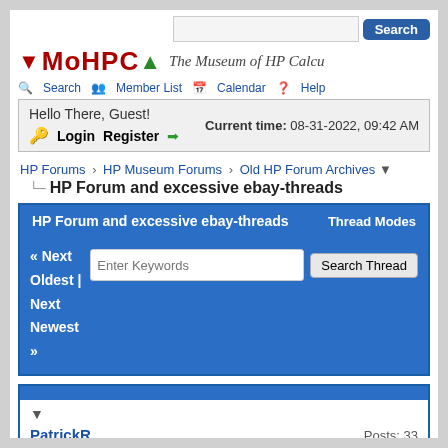MoHPCA Search Member List Calendar Help — The Museum of HP Calcu...
Hello There, Guest! Current time: 08-31-2022, 09:42 AM Login Register
HP Forums › HP Museum Forums › Old HP Forum Archives
HP Forum and excessive ebay-threads
HP Forum and excessive ebay-threads   Thread Modes
« Next Oldest | Next Newest »
▼
PatrickR   Posts: 33